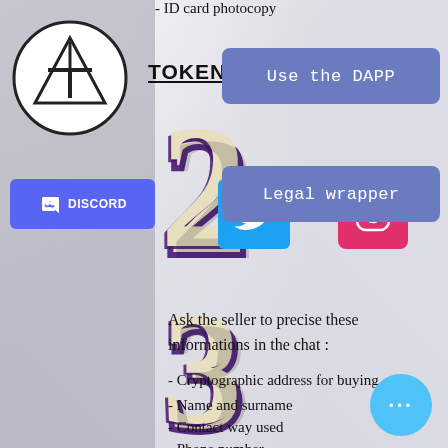- ID card photocopy
[Figure (logo): TokenArt circular logo with A and T letters inside a circle with a triangle]
TOKENART
[Figure (infographic): Discord button with Discord logo and text DISCORD]
[Figure (infographic): Twitter bird logo button on blue background]
[Figure (infographic): Instagram camera logo button on pink/red background]
[Figure (infographic): Use the DAPP button in blue/purple]
[Figure (infographic): Legal wrapper button in blue/purple]
[Figure (illustration): Large decorative numeral 2 in purple and cream 3D style]
[Figure (illustration): Large decorative numeral 3 in purple and cream 3D style]
Ask the seller to precise these informations in the chat :
- Cryptographic address for buying
- Name and surname
- Contact way used
- Phone number